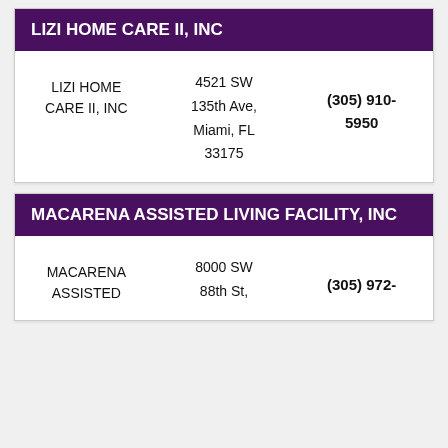LIZI HOME CARE II, INC
| Name | Address | Phone |
| --- | --- | --- |
| LIZI HOME CARE II, INC | 4521 SW 135th Ave, Miami, FL 33175 | (305) 910-5950 |
MACARENA ASSISTED LIVING FACILITY, INC
| Name | Address | Phone |
| --- | --- | --- |
| MACARENA ASSISTED | 8000 SW 88th St, | (305) 972- |